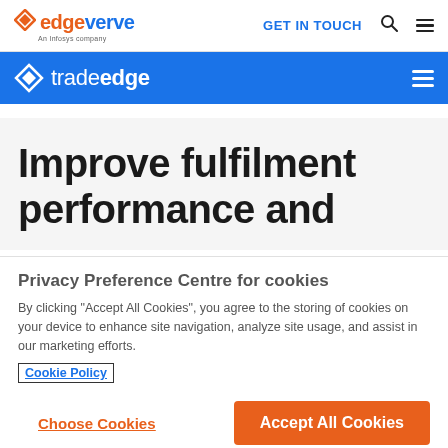EdgeVerve — An Infosys company | GET IN TOUCH
tradeedge
Improve fulfilment performance and
Privacy Preference Centre for cookies
By clicking “Accept All Cookies”, you agree to the storing of cookies on your device to enhance site navigation, analyze site usage, and assist in our marketing efforts.
Cookie Policy
Choose Cookies | Accept All Cookies